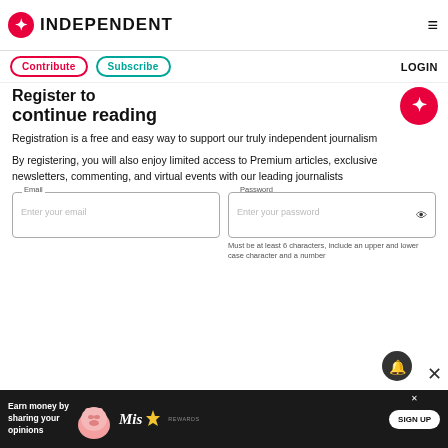INDEPENDENT
Contribute  Subscribe  LOGIN
continue reading
Registration is a free and easy way to support our truly independent journalism
By registering, you will also enjoy limited access to Premium articles, exclusive newsletters, commenting, and virtual events with our leading journalists
Email
Enter your email
Password
Enter your password
Must be at least 6 characters, include an upper and lower case character and a number
[Figure (infographic): Advertisement banner: Earn money by sharing your opinions, Miss Rewards, SIGN UP button]